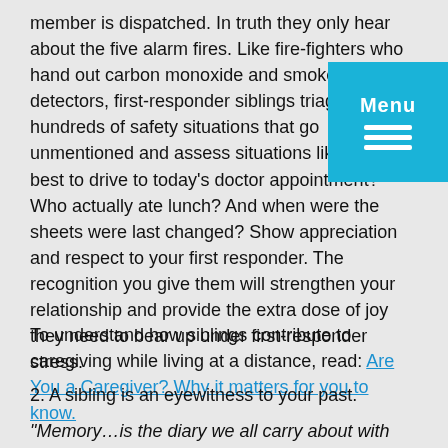member is dispatched. In truth they only hear about the five alarm fires. Like fire-fighters who hand out carbon monoxide and smoke detectors, first-responder siblings triage hundreds of safety situations that go unmentioned and assess situations like: who is best to drive to today's doctor appointment? Who actually ate lunch? And when were the sheets were last changed? Show appreciation and respect to your first responder. The recognition you give them will strengthen your relationship and provide the extra dose of joy they need to bear up under first-responder stress.
To understand how siblings contribute to caregiving while living at a distance, read: Are You a Caregiver? Why it matters for you to know.
2. A sibling is an eyewitness to your past.
“Memory…is the diary we all carry about with us.” Oscar Wilde